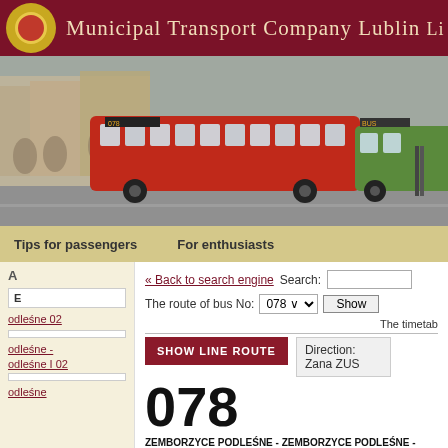Municipal Transport Company Lublin
[Figure (photo): Red articulated buses on a city square, Lublin]
Tips for passengers   For enthusiasts
« Back to search engine   Search:
The route of bus No: 078   Show
The timetab...
SHOW LINE ROUTE
Direction: Zana ZUS
078
ZEMBORZYCE PODLEŚNE - ZEMBORZYCE PODLEŚNE - PSZO... PASIĘCZNA - ZEMBORZYCE WOJCIECHOWSKIE - ZEMBORZY...
E
odleśne 02
odleśne -
odleśne I 02
odleśne